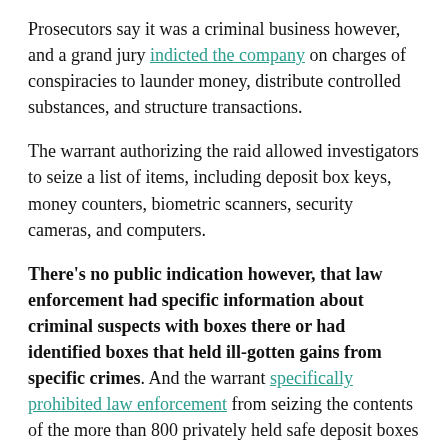Prosecutors say it was a criminal business however, and a grand jury indicted the company on charges of conspiracies to launder money, distribute controlled substances, and structure transactions.
The warrant authorizing the raid allowed investigators to seize a list of items, including deposit box keys, money counters, biometric scanners, security cameras, and computers.
There's no public indication however, that law enforcement had specific information about criminal suspects with boxes there or had identified boxes that held ill-gotten gains from specific crimes. And the warrant specifically prohibited law enforcement from seizing the contents of the more than 800 privately held safe deposit boxes at the business:
This warrant does not authorize a criminal search or seizure of the contents of safety deposit boxes … in accordance with their written policies, agents shall inspect the contents of the boxes in an effort to identify their owners in order to notify them so that they can claim their property.